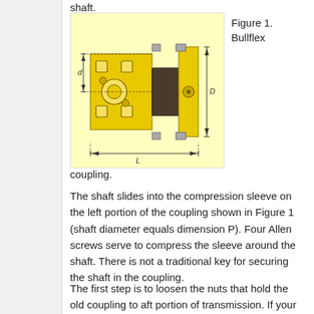shaft.
[Figure (engineering-diagram): Technical engineering diagram of a Bullflex coupling showing cross-section with yellow body, dark compression sleeve, four Allen screws, and dimension annotations for d (shaft diameter), D (outer diameter), and L (total length).]
Figure 1. Bullflex coupling.
The shaft slides into the compression sleeve on the left portion of the coupling shown in Figure 1 (shaft diameter equals dimension P). Four Allen screws serve to compress the sleeve around the shaft. There is not a traditional key for securing the shaft in the coupling.
The first step is to loosen the nuts that hold the old coupling to aft portion of transmission. If your coupling has been